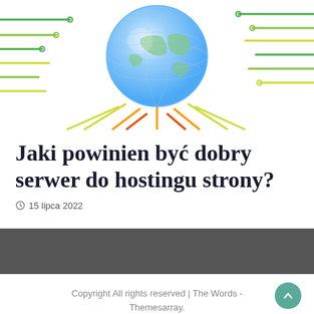[Figure (illustration): Digital globe with green, yellow, and orange circuit-line connections extending outward and downward, representing internet/hosting concept]
Jaki powinien być dobry serwer do hostingu strony?
15 lipca 2022
Copyright All rights reserved | The Words - Themesarray.